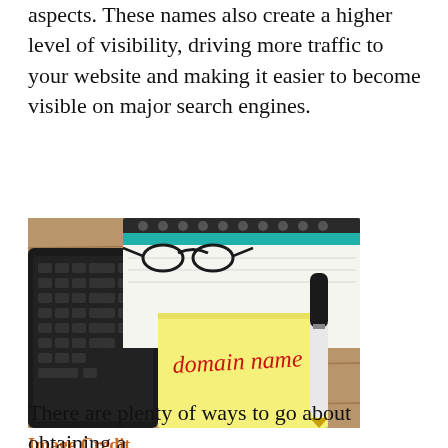aspects. These names also create a higher level of visibility, driving more traffic to your website and making it easier to become visible on major search engines.
[Figure (photo): A keyboard, notebook, eyeglasses, and pen on a wooden desk with a yellow sticky note reading 'domain name' in red handwriting]
Image Credit
There are plenty of ways to go about obtaining a